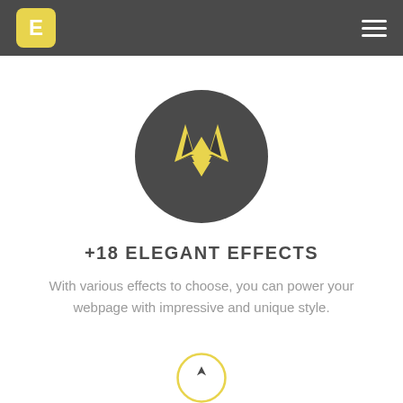E (logo) | navigation bar with hamburger menu
[Figure (logo): Circular dark grey badge containing a geometric fox face icon in yellow/gold, with triangular ears and a diamond-shaped face, on white background]
+18 ELEGANT EFFECTS
With various effects to choose, you can power your webpage with impressive and unique style.
[Figure (illustration): Partial yellow-outlined circle visible at the bottom of the page, likely another feature icon]